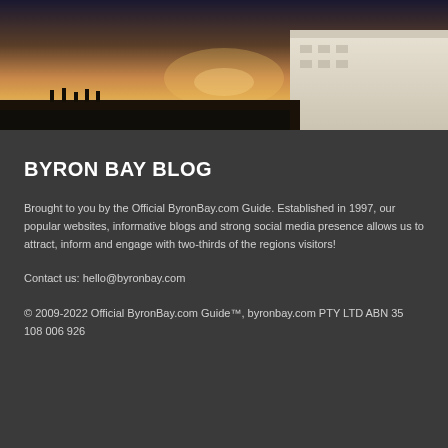[Figure (photo): A sunset photo showing silhouettes of people and a large white building on the right, with warm orange and golden sky tones.]
BYRON BAY BLOG
Brought to you by the Official ByronBay.com Guide. Established in 1997, our popular websites, informative blogs and strong social media presence allows us to attract, inform and engage with two-thirds of the regions visitors!
Contact us: hello@byronbay.com
© 2009-2022 Official ByronBay.com Guide™, byronbay.com PTY LTD ABN 35 108 006 926